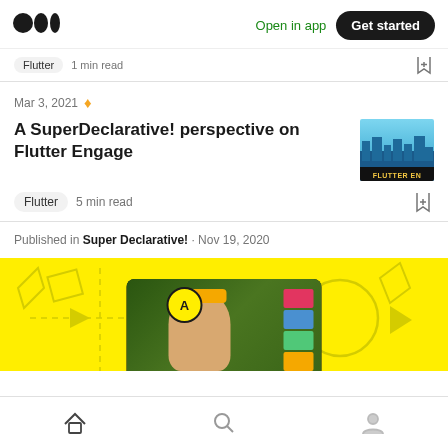Medium — Open in app | Get started
Flutter · 1 min read
Mar 3, 2021
A SuperDeclarative! perspective on Flutter Engage
Flutter  5 min read
Published in Super Declarative! · Nov 19, 2020
[Figure (screenshot): Yellow promotional video thumbnail with Flutter Engage branding, showing a person wearing a yellow hat in front of a laptop screen with a Super Declarative logo]
Home | Search | Profile